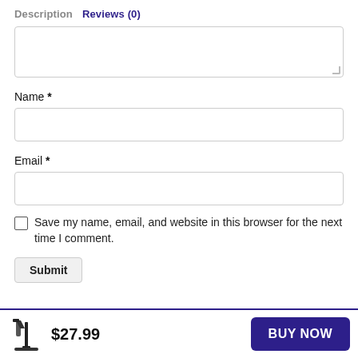Description   Reviews (0)
[Figure (other): Textarea input field (partially visible, top cut off)]
Name *
[Figure (other): Name text input field]
Email *
[Figure (other): Email text input field]
Save my name, email, and website in this browser for the next time I comment.
Submit
$27.99   BUY NOW